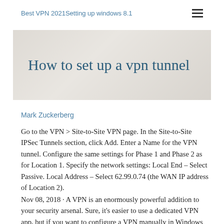Best VPN 2021Setting up windows 8.1
How to set up a vpn tunnel
Mark Zuckerberg
Go to the VPN > Site-to-Site VPN page. In the Site-to-Site IPSec Tunnels section, click Add. Enter a Name for the VPN tunnel. Configure the same settings for Phase 1 and Phase 2 as for Location 1. Specify the network settings: Local End – Select Passive. Local Address – Select 62.99.0.74 (the WAN IP address of Location 2).
Nov 08, 2018 · A VPN is an enormously powerful addition to your security arsenal. Sure, it's easier to use a dedicated VPN app, but if you want to configure a VPN manually in Windows